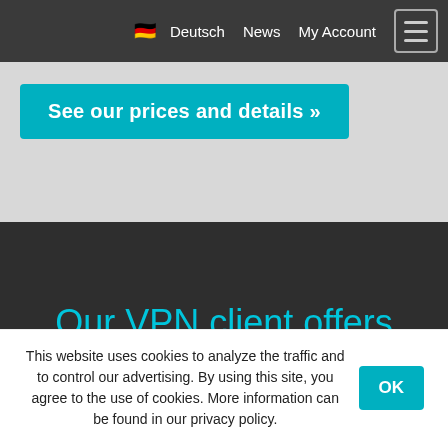🇩🇪 Deutsch  News  My Account  ☰
See our prices and details »
Our VPN client offers unique features
This website uses cookies to analyze the traffic and to control our advertising. By using this site, you agree to the use of cookies. More information can be found in our privacy policy.  OK